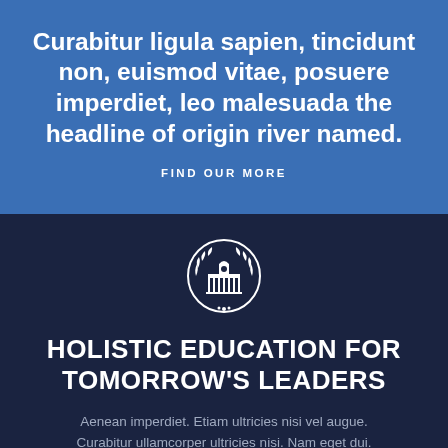Curabitur ligula sapien, tincidunt non, euismod vitae, posuere imperdiet, leo malesuada the headline of origin river named.
FIND OUR MORE
[Figure (logo): White university building icon with laurel wreath border on dark navy background]
HOLISTIC EDUCATION FOR TOMORROW'S LEADERS
Aenean imperdiet. Etiam ultricies nisi vel augue. Curabitur ullamcorper ultricies nisi. Nam eget dui.